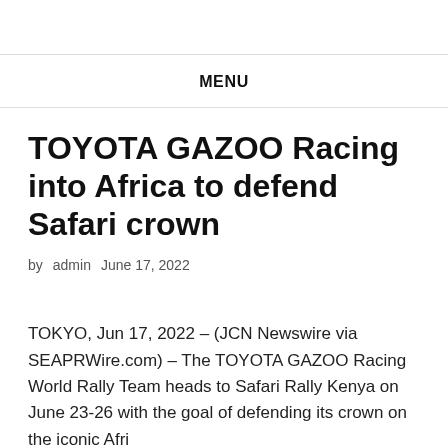MENU
TOYOTA GAZOO Racing into Africa to defend Safari crown
by admin   June 17, 2022
TOKYO, Jun 17, 2022 – (JCN Newswire via SEAPRWire.com) – The TOYOTA GAZOO Racing World Rally Team heads to Safari Rally Kenya on June 23-26 with the goal of defending its crown on the iconic Afri…